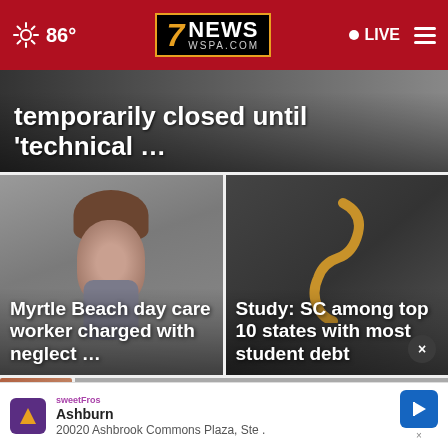86° 7NEWS WSPA.COM LIVE
temporarily closed until 'technical …
Myrtle Beach day care worker charged with neglect …
Study: SC among top 10 states with most student debt
Ashburn
20020 Ashbrook Commons Plaza, Ste .